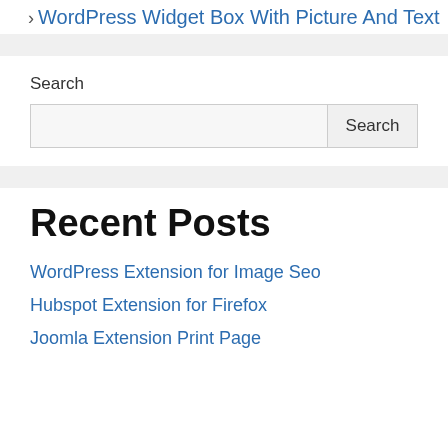› WordPress Widget Box With Picture And Text
Search
Recent Posts
WordPress Extension for Image Seo
Hubspot Extension for Firefox
Joomla Extension Print Page